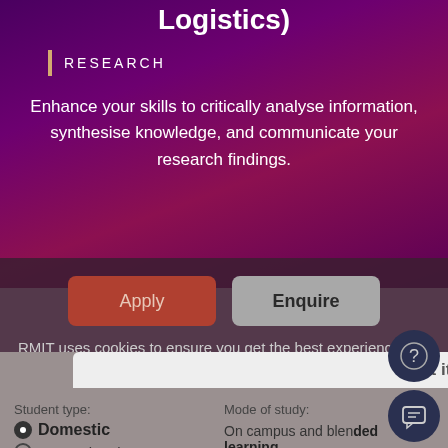Logistics)
RESEARCH
Enhance your skills to critically analyse information, synthesise knowledge, and communicate your research findings.
Apply
Enquire
RMIT uses cookies to ensure you get the best experience. Find out more about cookies and how to manage them in our Privacy Statement.
Got it!
Student type:
Mode of study:
Domestic
International
On campus and blended learning